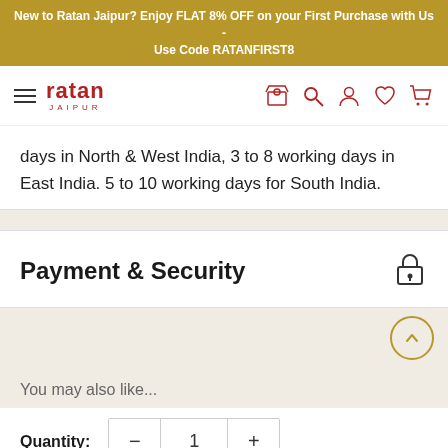New to Ratan Jaipur? Enjoy FLAT 8% OFF on your First Purchase with Us - Use Code RATANFIRST8
[Figure (logo): Ratan Jaipur logo with hamburger menu and navigation icons]
days in North & West India, 3 to 8 working days in East India. 5 to 10 working days for South India.
Payment & Security
Quantity: 1
Add to cart
Buy it now